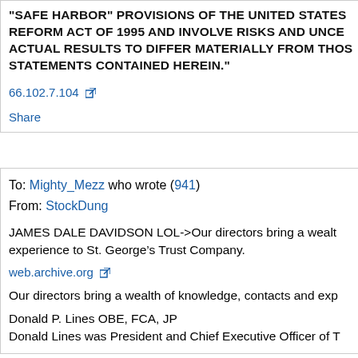"SAFE HARBOR" PROVISIONS OF THE UNITED STATES REFORM ACT OF 1995 AND INVOLVE RISKS AND UNCER ACTUAL RESULTS TO DIFFER MATERIALLY FROM THOS STATEMENTS CONTAINED HEREIN."
66.102.7.104
Share
To: Mighty_Mezz who wrote (941)
From: StockDung
JAMES DALE DAVIDSON LOL->Our directors bring a wealth experience to St. George’s Trust Company.
web.archive.org
Our directors bring a wealth of knowledge, contacts and exp
Donald P. Lines OBE, FCA, JP
Donald Lines was President and Chief Executive Officer of T